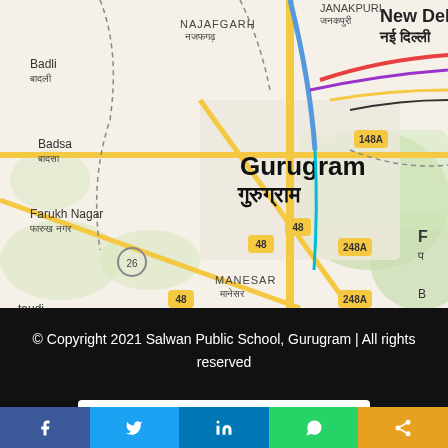[Figure (map): Google Maps screenshot showing Gurugram (गुरुग्राम) and surrounding areas including New Delhi (नई दिल्ली), Najafgarh (नजफगढ़), Badli (बादली), Badsa (बादसा), Farukh Nagar (फारुख नगर), Manesar (मानेसर), Janakpuri (जनकपुरी). Road numbers visible: 148A, 48, 248A, 26.]
© Copyright 2021 Salwan Public School, Gurugram | All rights reserved
You Are Visitor No : 279427